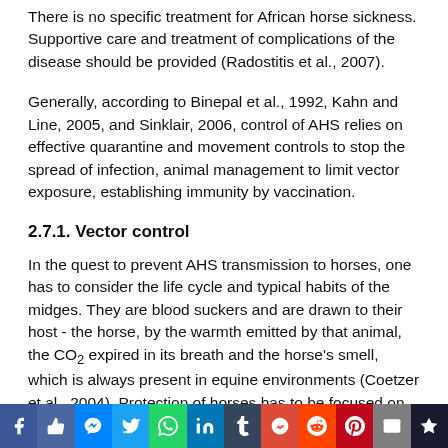There is no specific treatment for African horse sickness. Supportive care and treatment of complications of the disease should be provided (Radostitis et al., 2007).
Generally, according to Binepal et al., 1992, Kahn and Line, 2005, and Sinklair, 2006, control of AHS relies on effective quarantine and movement controls to stop the spread of infection, animal management to limit vector exposure, establishing immunity by vaccination.
2.7.1. Vector control
In the quest to prevent AHS transmission to horses, one has to consider the life cycle and typical habits of the midges. They are blood suckers and are drawn to their host - the horse, by the warmth emitted by that animal, the CO₂ expired in its breath and the horse's smell, which is always present in equine environments (Coetzer et al., 2004). Protection of horses has to be focused on